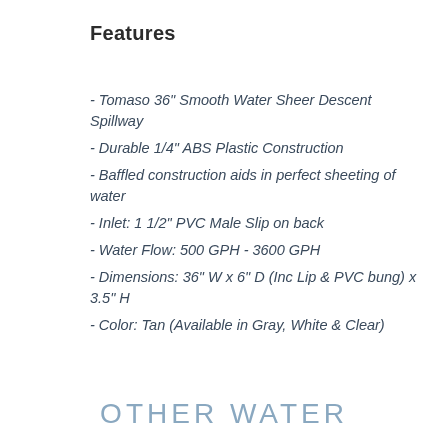Features
- Tomaso 36" Smooth Water Sheer Descent Spillway
- Durable 1/4" ABS Plastic Construction
- Baffled construction aids in perfect sheeting of water
- Inlet: 1 1/2" PVC Male Slip on back
- Water Flow: 500 GPH - 3600 GPH
- Dimensions: 36" W x 6" D (Inc Lip & PVC bung) x 3.5" H
- Color: Tan (Available in Gray, White & Clear)
OTHER WATER